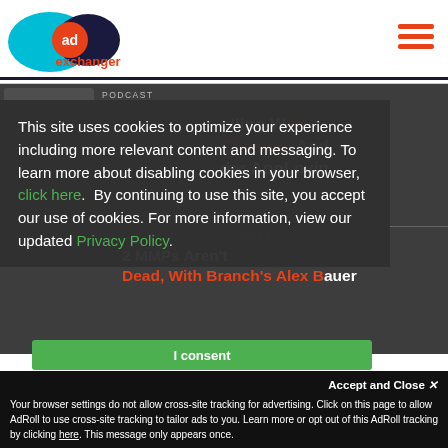AdExchanger logo and navigation
This site uses cookies to optimize your experience including more relevant content and messaging. To learn more about disabling cookies in your browser, click here. By continuing to use this site, you accept our use of cookies. For more information, view our updated Privacy Policy.
...rolling With Changes And ...der AppLovin
...2 MMPs Aren't Dead, With Branch's Alex Bauer
Accept and Close ×
Your browser settings do not allow cross-site tracking for advertising. Click on this page to allow AdRoll to use cross-site tracking to tailor ads to you. Learn more or opt out of this AdRoll tracking by clicking here. This message only appears once.